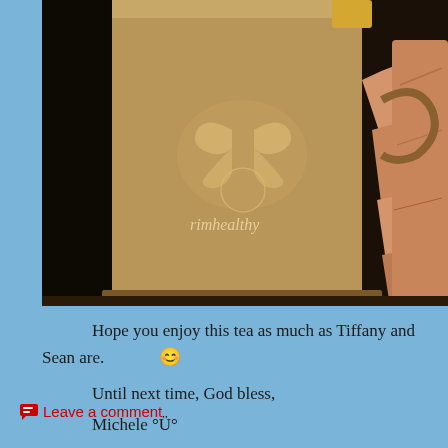[Figure (photo): A hand holding a tan/brown mug with a butterfly logo and the text 'trimhealthy' visible on the cup, against a dark background.]
Hope you enjoy this tea as much as Tiffany and Sean are. 😊
Until next time, God bless,
Michele °Ü°
💬 Leave a comment